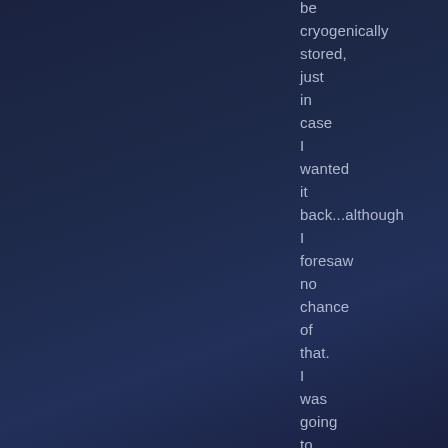be cryogenically stored, just in case I wanted it back...although I foresaw no chance of that. I was going to